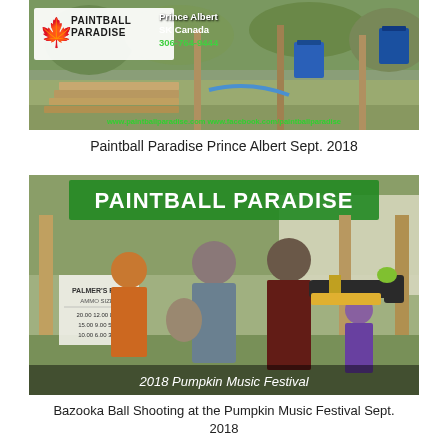[Figure (photo): Paintball Paradise outdoor facility photo with logo overlay showing Prince Albert, SK Canada, 306-764-9444 contact info, wooden structures, blue bins, and website URLs in green text at bottom]
Paintball Paradise Prince Albert Sept. 2018
[Figure (photo): Outdoor photo showing people at a Paintball Paradise booth at the 2018 Pumpkin Music Festival. A person in a red vest holds a bazooka ball launcher, another person in a grey vest stands nearby. Sign reads 'Paintball Paradise' in green text at top. Caption reads '2018 Pumpkin Music Festival' at bottom.]
Bazooka Ball Shooting at the Pumpkin Music Festival Sept. 2018